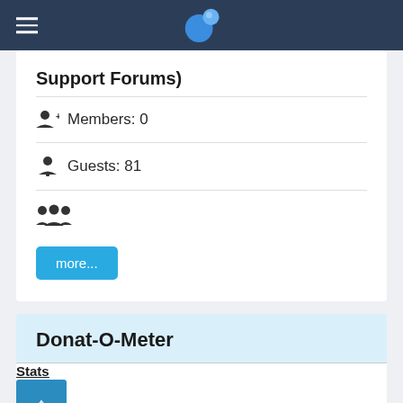Support Forums)
Members: 0
Guests: 81
more...
Donat-O-Meter
| Stats |  |
| --- | --- |
| Goal: | $100.00 |